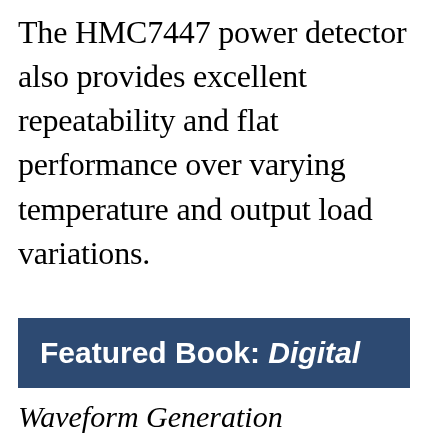The HMC7447 power detector also provides excellent repeatability and flat performance over varying temperature and output load variations.
Featured Book: Digital
Waveform Generation